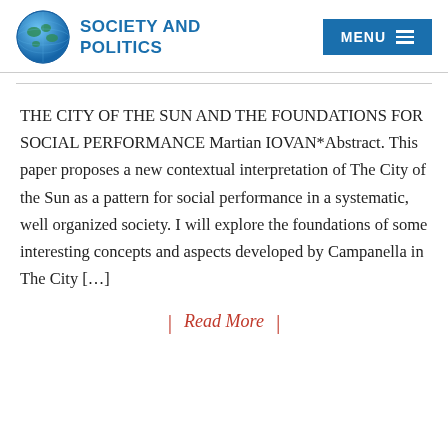[Figure (logo): Society and Politics journal logo with globe icon and bold blue text]
THE CITY OF THE SUN AND THE FOUNDATIONS FOR SOCIAL PERFORMANCE Martian IOVAN*Abstract. This paper proposes a new contextual interpretation of The City of the Sun as a pattern for social performance in a systematic, well organized society. I will explore the foundations of some interesting concepts and aspects developed by Campanella in The City […]
Read More